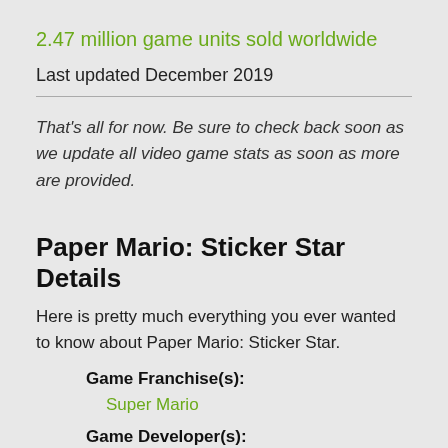2.47 million game units sold worldwide
Last updated December 2019
That's all for now. Be sure to check back soon as we update all video game stats as soon as more are provided.
Paper Mario: Sticker Star Details
Here is pretty much everything you ever wanted to know about Paper Mario: Sticker Star.
Game Franchise(s):
Super Mario
Game Developer(s):